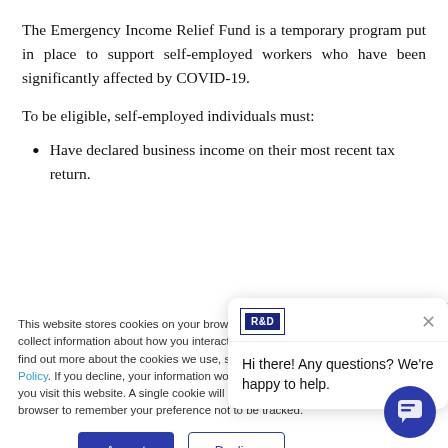The Emergency Income Relief Fund is a temporary program put in place to support self-employed workers who have been significantly affected by COVID-19.
To be eligible, self-employed individuals must:
Have declared business income on their most recent tax return.
This website stores cookies on your browser and are used to collect information about how you interact with our website. To find out more about the cookies we use, see our Privacy Policy. If you decline, your information won't be tracked when you visit this website. A single cookie will be used in your browser to remember your preference not to be tracked.
[Figure (screenshot): Accept and Decline cookie consent buttons]
[Figure (screenshot): R&D logo chat widget with message: Hi there! Any questions? We're happy to help. with a close button.]
[Figure (screenshot): Blue circular chat bubble button in bottom right corner]